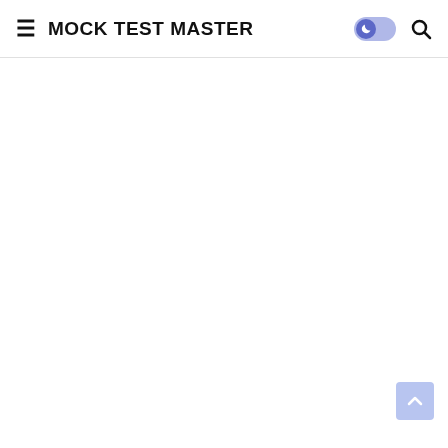≡ MOCK TEST MASTER
[Figure (screenshot): Dark mode toggle switch with moon icon, currently showing dark mode enabled (knob on left, purple/blue colors)]
[Figure (screenshot): Search icon (magnifying glass) in the header navigation]
[Figure (screenshot): Scroll to top button, a blue/periwinkle square with an upward chevron arrow, positioned at bottom-right of the page]